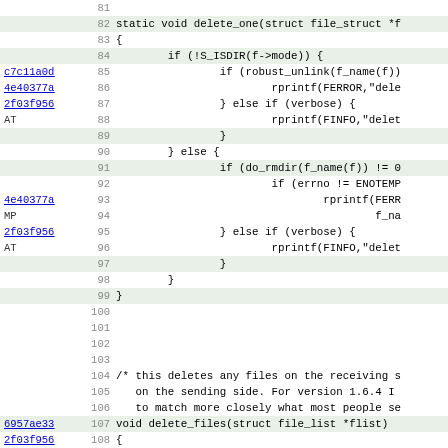Source code listing with annotations, lines 81-112, showing delete_one and delete_files functions in C
81 (blank)
82 static void delete_one(struct file_struct *f
83 {
84         if (!S_ISDIR(f->mode)) {
c7c11a0d 85                 if (robust_unlink(f_name(f))
4e40377a 86                         rprintf(FERROR,"dele
2f03f956 87                 } else if (verbose) {
AT       88                         rprintf(FINFO,"delet
89                 }
90         } else {
91                 if (do_rmdir(f_name(f)) != 0
92                         if (errno != ENOTEMP
4e40377a 93                                 rprintf(FERR
MP       94                                         f_na
2f03f956 95                 } else if (verbose) {
AT       96                         rprintf(FINFO,"delet
97                 }
98         }
99 }
100 (blank)
101 (blank)
102 (blank)
103 (blank)
104 /* this deletes any files on the receiving s
105    on the sending side. For version 1.6.4 I
106    to match more closely what most people se
6957ae33 107 void delete_files(struct file_list *flist)
2f03f956 108 {
AT       109         struct file_list *local_file_list;
110         int i, j;
111         char *name;
cda2ae84 112         extern int module_id;